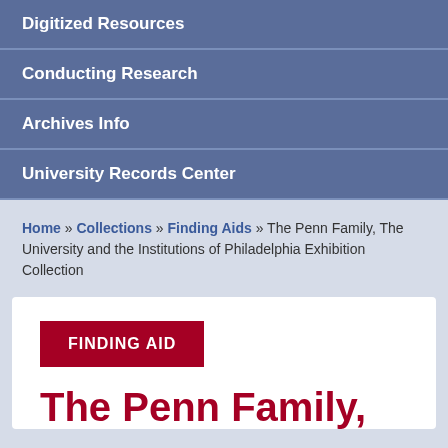Digitized Resources
Conducting Research
Archives Info
University Records Center
Home » Collections » Finding Aids » The Penn Family, The University and the Institutions of Philadelphia Exhibition Collection
FINDING AID
The Penn Family,